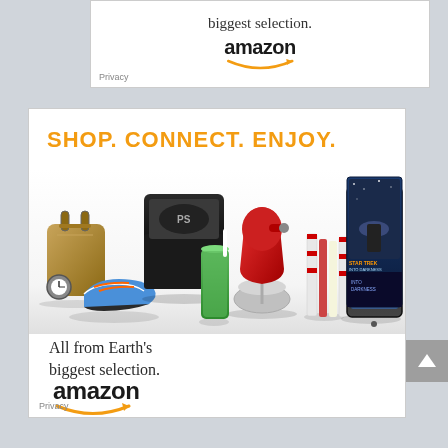[Figure (advertisement): Top partial Amazon advertisement banner showing tagline 'biggest selection.' and Amazon logo with orange arrow]
[Figure (advertisement): Amazon advertisement: 'SHOP. CONNECT. ENJOY.' headline in orange, product images including handbag, PS4, KitchenAid mixer, books, Kindle tablet, Star Trek Into Darkness movie. Text: 'All from Earth's biggest selection.' with Amazon logo and orange smile arrow.]
Privacy
Privacy